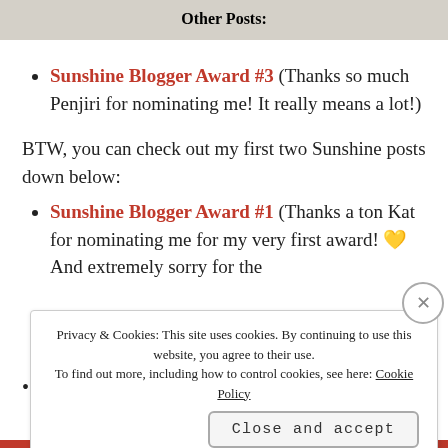Other Posts:
Sunshine Blogger Award #3 (Thanks so much Penjiri for nominating me! It really means a lot!)
BTW, you can check out my first two Sunshine posts down below:
Sunshine Blogger Award #1 (Thanks a ton Kat for nominating me for my very first award! 💛 And extremely sorry for the
Privacy & Cookies: This site uses cookies. By continuing to use this website, you agree to their use. To find out more, including how to control cookies, see here: Cookie Policy
Close and accept